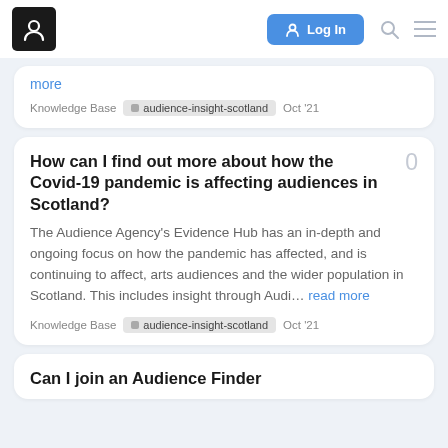Log In
more
Knowledge Base  audience-insight-scotland  Oct '21
How can I find out more about how the Covid-19 pandemic is affecting audiences in Scotland?
The Audience Agency's Evidence Hub has an in-depth and ongoing focus on how the pandemic has affected, and is continuing to affect, arts audiences and the wider population in Scotland. This includes insight through Audi… read more
Knowledge Base  audience-insight-scotland  Oct '21
Can I join an Audience Finder